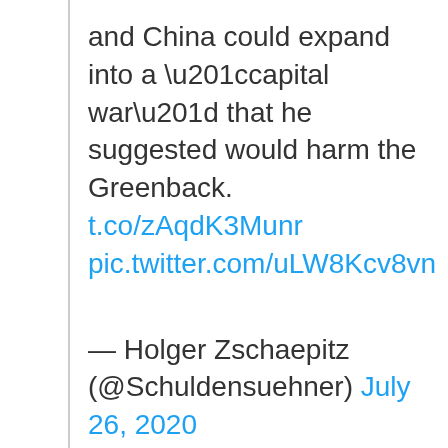and China could expand into a “capital war” that he suggested would harm the Greenback. t.co/zAqdK3Munr pic.twitter.com/uLW8Kcv8vn
— Holger Zschaepitz (@Schuldensuehner) July 26, 2020